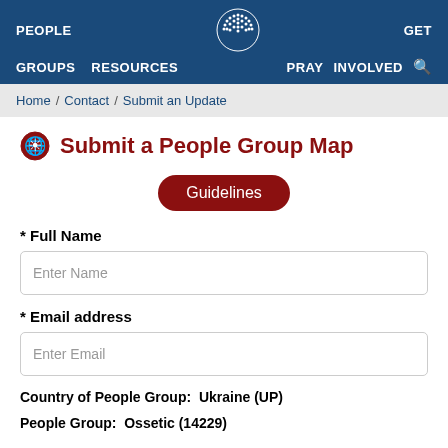PEOPLE  GROUPS  RESOURCES  [logo]  GET INVOLVED  PRAY
Home / Contact / Submit an Update
Submit a People Group Map
Guidelines
* Full Name
Enter Name
* Email address
Enter Email
Country of People Group:  Ukraine (UP)
People Group:  Ossetic (14229)